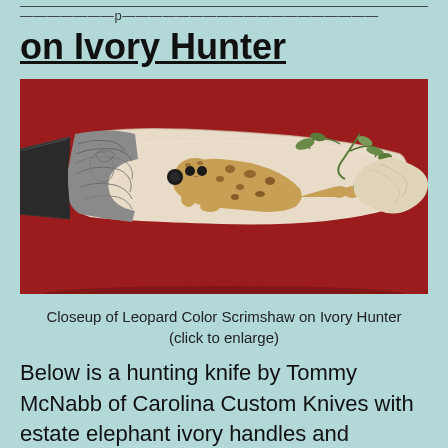on Ivory Hunter
[Figure (photo): Closeup photo of a hunting knife handle with leopard color scrimshaw art on ivory scales, set against a red fabric background. The handle shows a detailed leopard scene with green foliage, and the bolster is engraved.]
Closeup of Leopard Color Scrimshaw on Ivory Hunter
(click to enlarge)
Below is a hunting knife by Tommy McNabb of Carolina Custom Knives with estate elephant ivory handles and engraved bolsters. The